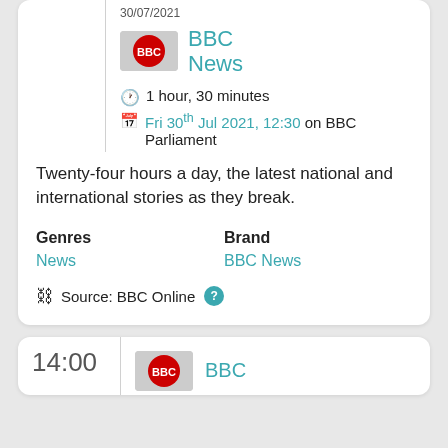30/07/2021
[Figure (logo): BBC News logo thumbnail]
BBC News
1 hour, 30 minutes
Fri 30th Jul 2021, 12:30 on BBC Parliament
Twenty-four hours a day, the latest national and international stories as they break.
Genres
News
Brand
BBC News
Source: BBC Online
14:00
[Figure (logo): BBC News logo thumbnail second card]